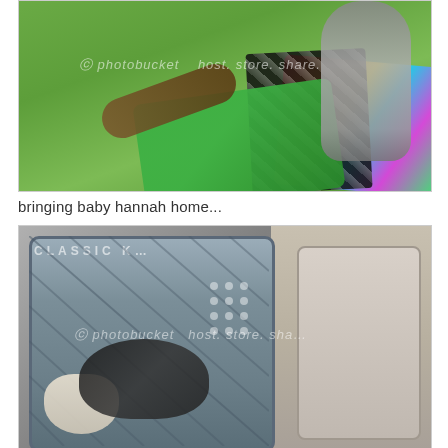[Figure (photo): Outdoor photo showing a dog standing over colorful blankets on green grass, with a person's arm visible. Photobucket watermark overlay.]
bringing baby hannah home...
[Figure (photo): Photo of a pet carrier crate in a car, containing a dark-colored small animal (puppy/kitten) and a plush toy. Right side shows car interior/seat. Photobucket watermark overlay.]